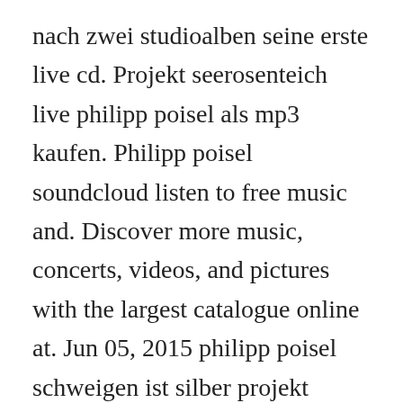nach zwei studioalben seine erste live cd. Projekt seerosenteich live philipp poisel als mp3 kaufen. Philipp poisel soundcloud listen to free music and. Discover more music, concerts, videos, and pictures with the largest catalogue online at. Jun 05, 2015 philipp poisel schweigen ist silber projekt seerosenteich. Philipp poisel hab keine angst projekt seerosenteich hey there delilah lyrics listen free to philipp poisel projekt seerosenteich live schweigen ist silber projekt seerosenteich live, wo fangt dein philipp